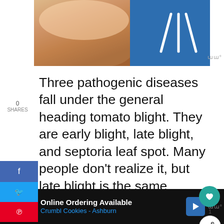[Figure (photo): Top portion of an article image showing a dog being held and a blue graphic element with white lines, partially visible at top of page]
Three pathogenic diseases fall under the general heading tomato blight. They are early blight, late blight, and septoria leaf spot. Many people don't realize it, but late blight is the same infamous disease that caused the devastating Irish potato family in the 1840s!
[Figure (infographic): Advertisement bar at bottom: Online Ordering Available - Crumbl Cookies - Ashburn]
Online Ordering Available Crumbl Cookies - Ashburn